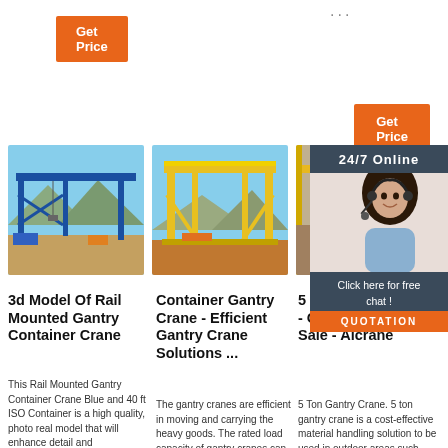[Figure (other): Orange Get Price button on left]
[Figure (other): Orange Get Price button on right]
[Figure (photo): Blue Rail Mounted Gantry Container Crane outdoors]
[Figure (photo): Yellow gantry crane structure outdoors]
[Figure (photo): Orange/yellow gantry crane partial view with 24/7 Online support overlay]
3d Model Of Rail Mounted Gantry Container Crane
This Rail Mounted Gantry Container Crane Blue and 40 ft ISO Container is a high quality, photo real model that will enhance detail and
Container Gantry Crane - Efficient Gantry Crane Solutions ...
The gantry cranes are efficient in moving and carrying the heavy goods. The rated load capacity of gantry cranes can
5 Ton Gantry Crane - Gantry Cranes For Sale - Aicrane
5 Ton Gantry Crane. 5 ton gantry crane is a cost-effective material handling solution to be used in outdoor areas such